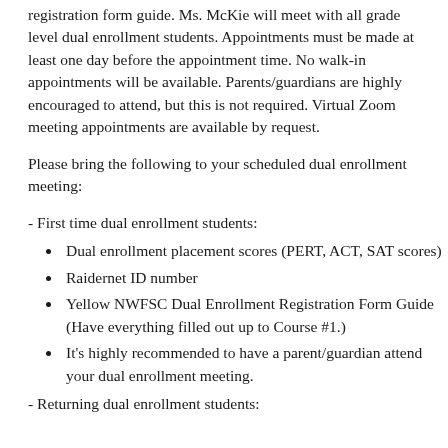registration form guide. Ms. McKie will meet with all grade level dual enrollment students. Appointments must be made at least one day before the appointment time. No walk-in appointments will be available. Parents/guardians are highly encouraged to attend, but this is not required. Virtual Zoom meeting appointments are available by request.
Please bring the following to your scheduled dual enrollment meeting:
- First time dual enrollment students:
Dual enrollment placement scores (PERT, ACT, SAT scores)
Raidernet ID number
Yellow NWFSC Dual Enrollment Registration Form Guide (Have everything filled out up to Course #1.)
It's highly recommended to have a parent/guardian attend your dual enrollment meeting.
- Returning dual enrollment students: